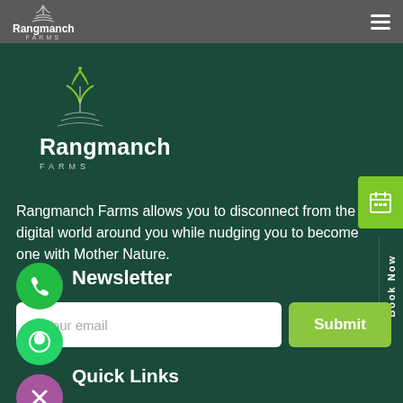Rangmanch FARMS
[Figure (logo): Rangmanch Farms logo: stylized plant/leaf with wave lines below, white on dark green, with brand name Rangmanch and FARMS below]
Rangmanch Farms allows you to disconnect from the digital world around you while nudging you to become one with Mother Nature.
Newsletter
Enter Your email
Quick Links